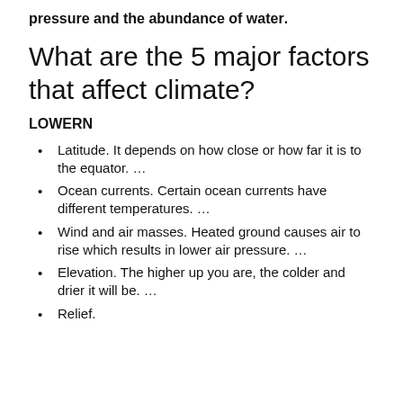pressure and the abundance of water.
What are the 5 major factors that affect climate?
LOWERN
Latitude. It depends on how close or how far it is to the equator. …
Ocean currents. Certain ocean currents have different temperatures. …
Wind and air masses. Heated ground causes air to rise which results in lower air pressure. …
Elevation. The higher up you are, the colder and drier it will be. …
Relief.